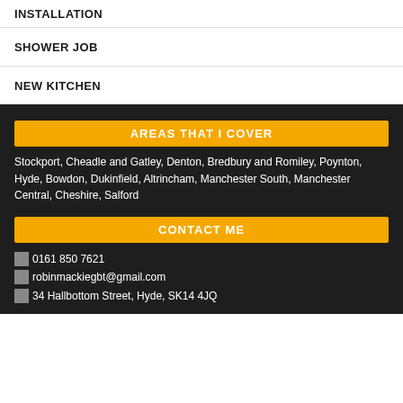INSTALLATION
SHOWER JOB
NEW KITCHEN
AREAS THAT I COVER
Stockport, Cheadle and Gatley, Denton, Bredbury and Romiley, Poynton, Hyde, Bowdon, Dukinfield, Altrincham, Manchester South, Manchester Central, Cheshire, Salford
CONTACT ME
0161 850 7621
robinmackiegbt@gmail.com
34 Hallbottom Street, Hyde, SK14 4JQ